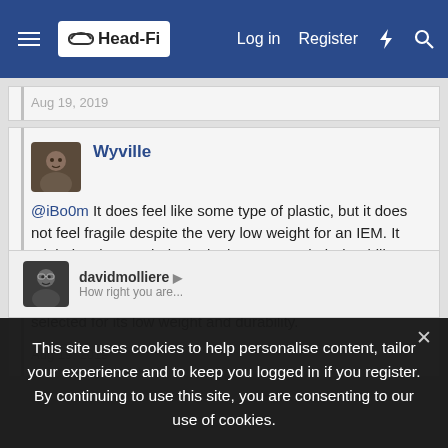Head-Fi — Log in  Register
Aug 19, 2019
Wyville
@iBo0m It does feel like some type of plastic, but it does not feel fragile despite the very low weight for an IEM. It might just be psychological, I haven't put their durability to the test, but knowing how strong Stealth Sonics' CIEMs are I would not be surprised if the material was specifically selected for its low weight and durability.
Aug 19, 2019
This site uses cookies to help personalise content, tailor your experience and to keep you logged in if you register. By continuing to use this site, you are consenting to our use of cookies.
davidmolliere